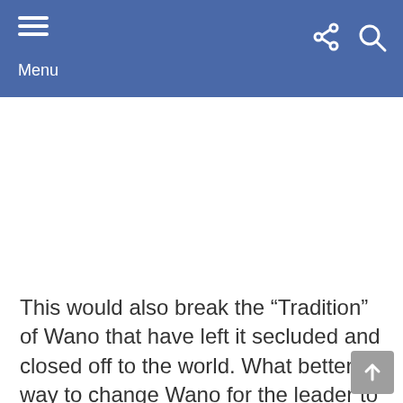Menu
[Figure (other): Advertisement placeholder area (white/blank)]
This would also break the “Tradition” of Wano that have left it secluded and closed off to the world. What better way to change Wano for the leader to be someone who loved the country and for their merits rather than the blood in their veins? Because let’s be honest, as good as Momonosuke is, he’s just a figurehead in this rebellion. He didn’t plan the